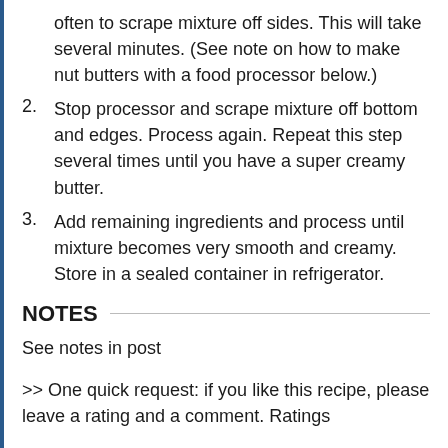often to scrape mixture off sides. This will take several minutes. (See note on how to make nut butters with a food processor below.)
2. Stop processor and scrape mixture off bottom and edges. Process again. Repeat this step several times until you have a super creamy butter.
3. Add remaining ingredients and process until mixture becomes very smooth and creamy. Store in a sealed container in refrigerator.
NOTES
See notes in post
>> One quick request: if you like this recipe, please leave a rating and a comment. Ratings